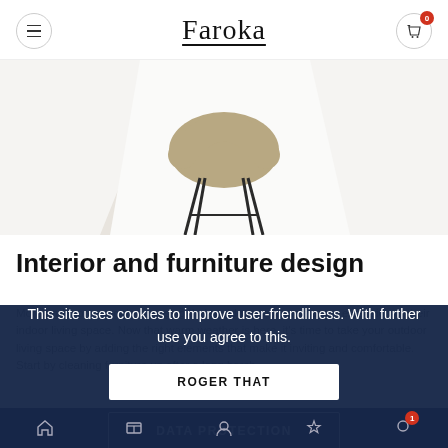Faroka
[Figure (photo): A modern chair with thin black metal legs and a beige/tan shell seat, photographed against a white background with white draped fabric.]
Interior and furniture design
More and more, people are using their outdoor patio area as an extension of their indoor living space. Now that warm weather is here, it's time to take your outdoor living space by adding the right elements that make it inviting and comfortable. Start by cleaning furniture up after a long harsh ...
This site uses cookies to improve user-friendliness. With further use you agree to this.

ROGER THAT

DATA PROTECTION